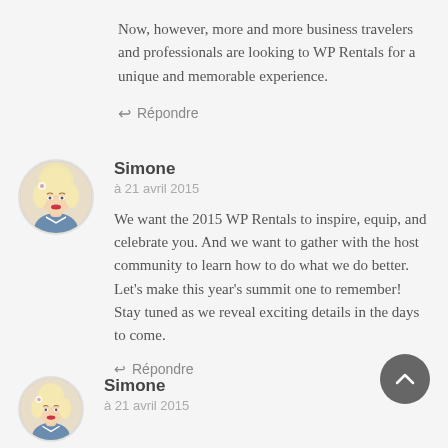Now, however, more and more business travelers and professionals are looking to WP Rentals for a unique and memorable experience.
↩ Répondre
Simone
à 21 avril 2015
We want the 2015 WP Rentals to inspire, equip, and celebrate you. And we want to gather with the host community to learn how to do what we do better. Let's make this year's summit one to remember! Stay tuned as we reveal exciting details in the days to come.
↩ Répondre
Simone
à 21 avril 2015